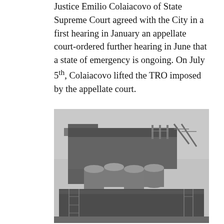Justice Emilio Colaiacovo of State Supreme Court agreed with the City in a first hearing in January an appellate court-ordered further hearing in June that a state of emergency is ongoing. On July 5th, Colaiacovo lifted the TRO imposed by the appellate court.
[Figure (photo): Black and white photograph of a large industrial grain elevator or silo building under construction, with scaffolding visible on multiple levels and construction cranes in the background.]